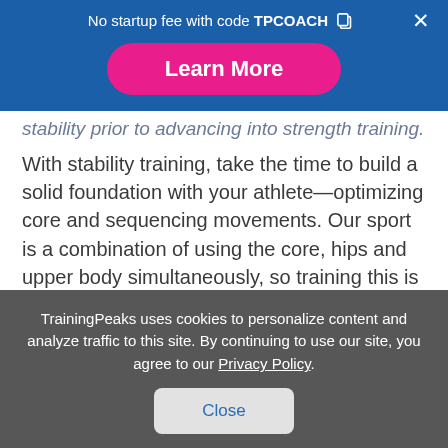No startup fee with code TPCOACH
Learn More
stability prior to advancing into strength training.
With stability training, take the time to build a solid foundation with your athlete—optimizing core and sequencing movements. Our sport is a combination of using the core, hips and upper body simultaneously, so training this is a must. With a dynamic core program, you'll teach your
TrainingPeaks uses cookies to personalize content and analyze traffic to this site. By continuing to use our site, you agree to our Privacy Policy.
Close